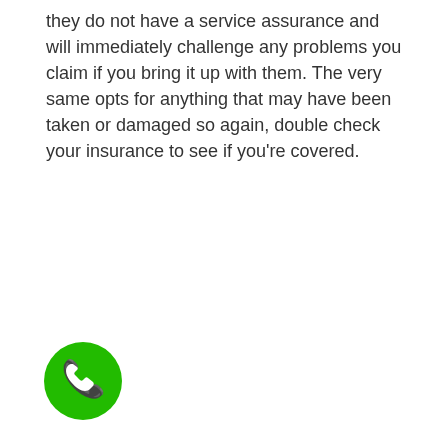they do not have a service assurance and will immediately challenge any problems you claim if you bring it up with them. The very same opts for anything that may have been taken or damaged so again, double check your insurance to see if you're covered.
[Figure (illustration): Green circular phone call button icon with a white telephone handset symbol in the center]